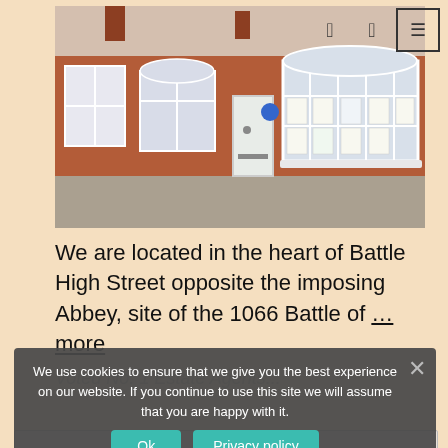[Figure (photo): Exterior photo of a brick estate agent office on Battle High Street with white-framed windows and a white door]
We are located in the heart of Battle High Street opposite the imposing Abbey, site of the 1066 Battle of … more
We use cookies to ensure that we give you the best experience on our website. If you continue to use this site we will assume that you are happy with it.
Ok
Privacy policy